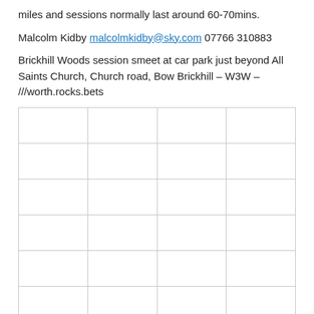miles and sessions normally last around 60-70mins.
Malcolm Kidby malcolmkidby@sky.com 07766 310883
Brickhill Woods session smeet at car park just beyond All Saints Church, Church road, Bow Brickhill – W3W – ///worth.rocks.bets
|  |  |  |  |
|  |  |  |  |
|  |  |  |  |
|  |  |  |  |
|  |  |  |  |
|  |  |  |  |
|  |  |  |  |